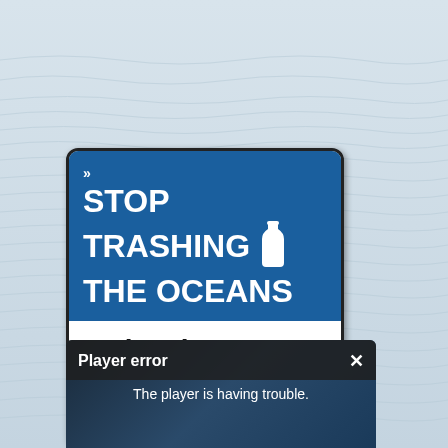[Figure (illustration): Ocean water surface background with rippling light-blue waves filling the entire page]
[Figure (infographic): Stop Trashing The Oceans campaign sign with blue top section showing 'STOP TRASHING THE OCEANS' in white bold text with a white bottle icon, and white bottom section with 'Give the Ocean A Voice' in large bold black text and 'Join The Movement' below a divider line]
[Figure (screenshot): Player error popup overlay at the bottom of the page with dark background, showing 'Player error' title bar with an X close button, and text 'The player is having trouble.']